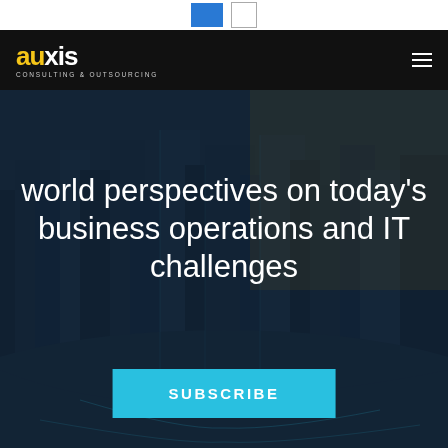[Figure (logo): Auxis Consulting & Outsourcing logo with yellow 'au' and white 'xis' text on dark background]
world perspectives on today's business operations and IT challenges
SUBSCRIBE